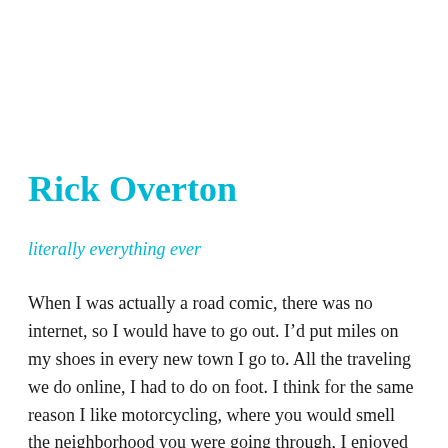Rick Overton
literally everything ever
When I was actually a road comic, there was no internet, so I would have to go out. I’d put miles on my shoes in every new town I go to. All the traveling we do online, I had to do on foot. I think for the same reason I like motorcycling, where you would smell the neighborhood you were going through, I enjoyed taking in all the senses of the place. I think if you’re going to write a bit about something, it’s